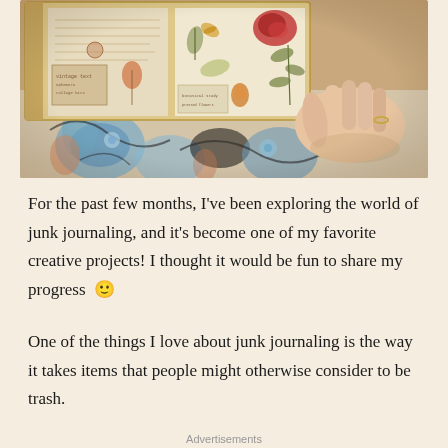[Figure (photo): A hand holding open a junk journal filled with pressed flowers, vintage papers, dried botanicals, and collaged ephemera, resting on a blue and white floral fabric background.]
For the past few months, I've been exploring the world of junk journaling, and it's become one of my favorite creative projects! I thought it would be fun to share my progress 🙂
One of the things I love about junk journaling is the way it takes items that people might otherwise consider to be trash.
Advertisements